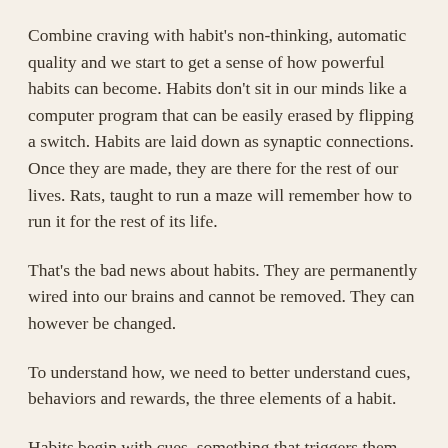Combine craving with habit's non-thinking, automatic quality and we start to get a sense of how powerful habits can become. Habits don't sit in our minds like a computer program that can be easily erased by flipping a switch. Habits are laid down as synaptic connections. Once they are made, they are there for the rest of our lives. Rats, taught to run a maze will remember how to run it for the rest of its life.
That's the bad news about habits. They are permanently wired into our brains and cannot be removed. They can however be changed.
To understand how, we need to better understand cues, behaviors and rewards, the three elements of a habit.
Habits begin with cues, something that triggers them. Cues predominately come from one of five sources: